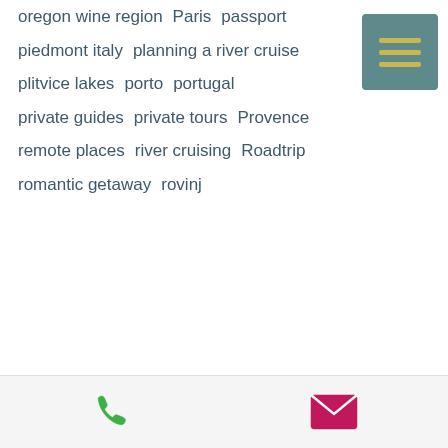oregon wine region  Paris  passport  piedmont italy  planning a river cruise  plitvice lakes  porto  portugal  private guides  private tours  Provence  remote places  river cruising  Roadtrip  romantic getaway  rovinj
[Figure (other): A teal/muted green square button with three horizontal golden/yellow lines (hamburger menu icon)]
[Figure (other): Footer bar with a green phone icon on the left and a pink/magenta envelope icon on the right]